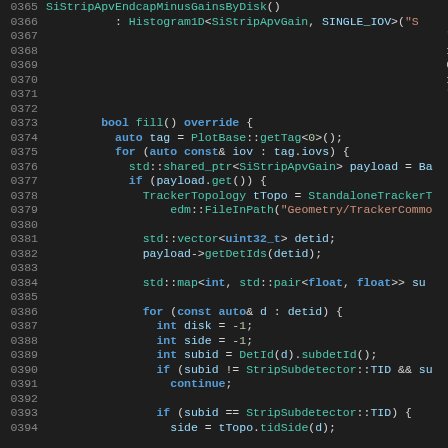[Figure (screenshot): Source code listing in a dark-themed IDE showing C++ code for SiStripApvEndcapMinusGainsByDisk class, lines 365-394, with syntax highlighting in blue, teal, red/orange, and light colors on dark background.]